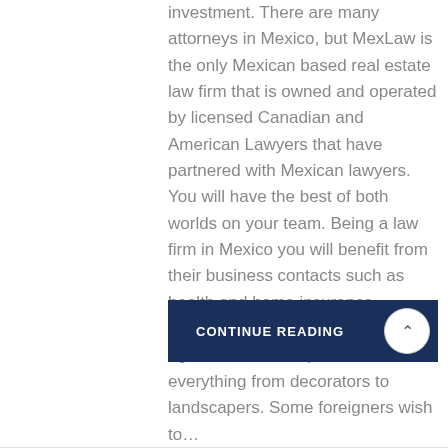investment. There are many attorneys in Mexico, but MexLaw is the only Mexican based real estate law firm that is owned and operated by licensed Canadian and American Lawyers that have partnered with Mexican lawyers. You will have the best of both worlds on your team. Being a law firm in Mexico you will benefit from their business contacts such as health and home insurance providers, accountants, real estate agents and developers, almost everything from decorators to landscapers. Some foreigners wish to...
CONTINUE READING >